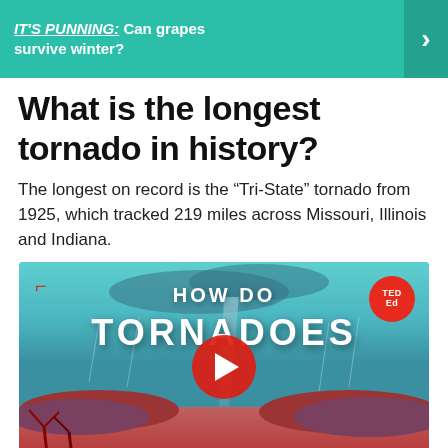[Figure (screenshot): Promotional banner with teal background showing partial text: 'IT'S PUNNING: Can grapes survive winter?' with a right arrow chevron]
What is the longest tornado in history?
The longest on record is the “Tri-State” tornado from 1925, which tracked 219 miles across Missouri, Illinois and Indiana.
[Figure (screenshot): YouTube video thumbnail for TED-Ed video titled 'HOW DO TORNADOES?' showing a tornado illustration with storm clouds, red plants, and a YouTube play button in the center. TED-Ed red circle badge in top right corner.]